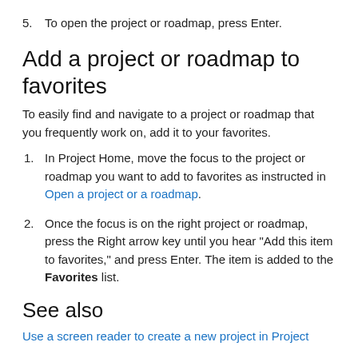5.  To open the project or roadmap, press Enter.
Add a project or roadmap to favorites
To easily find and navigate to a project or roadmap that you frequently work on, add it to your favorites.
1.  In Project Home, move the focus to the project or roadmap you want to add to favorites as instructed in Open a project or a roadmap.
2.  Once the focus is on the right project or roadmap, press the Right arrow key until you hear "Add this item to favorites," and press Enter. The item is added to the Favorites list.
See also
Use a screen reader to create a new project in Project